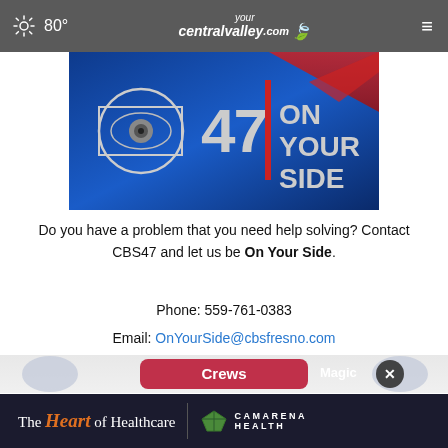80° yourcentralvalley.com
[Figure (logo): CBS47 On Your Side TV station logo on blue background with red accents]
Do you have a problem that you need help solving? Contact CBS47 and let us be On Your Side.
Phone: 559-761-0383
Email: OnYourSide@cbsfresno.com
[Figure (photo): Crews Magic advertisement banner with animated character]
The Heart of Healthcare | CAMARENA HEALTH